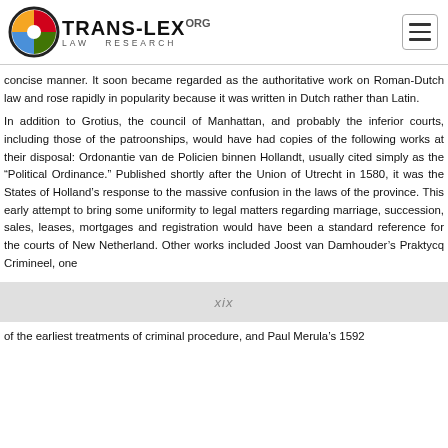TRANS-LEX.ORG LAW RESEARCH
concise manner. It soon became regarded as the authoritative work on Roman-Dutch law and rose rapidly in popularity because it was written in Dutch rather than Latin.
In addition to Grotius, the council of Manhattan, and probably the inferior courts, including those of the patroonships, would have had copies of the following works at their disposal: Ordonantie van de Policien binnen Hollandt, usually cited simply as the "Political Ordinance." Published shortly after the Union of Utrecht in 1580, it was the States of Holland's response to the massive confusion in the laws of the province. This early attempt to bring some uniformity to legal matters regarding marriage, succession, sales, leases, mortgages and registration would have been a standard reference for the courts of New Netherland. Other works included Joost van Damhouder's Praktycq Crimineel, one
xix
of the earliest treatments of criminal procedure, and Paul Merula's 1592